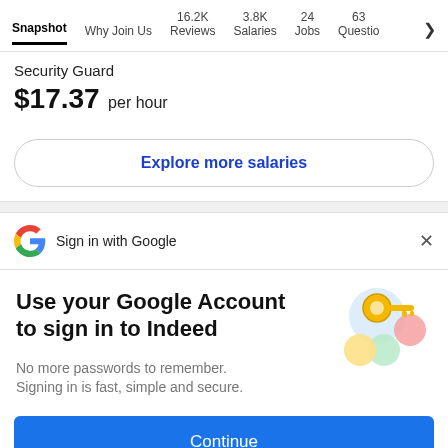Snapshot  Why Join Us  16.2K Reviews  3.8K Salaries  24 Jobs  63 Questio >
Security Guard
$17.37 per hour
Explore more salaries
Sign in with Google
Use your Google Account to sign in to Indeed
No more passwords to remember. Signing in is fast, simple and secure.
Continue